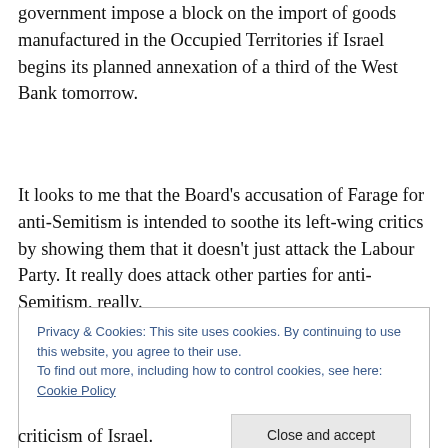government impose a block on the import of goods manufactured in the Occupied Territories if Israel begins its planned annexation of a third of the West Bank tomorrow.
It looks to me that the Board’s accusation of Farage for anti-Semitism is intended to soothe its left-wing critics by showing them that it doesn’t just attack the Labour Party. It really does attack other parties for anti-Semitism, really.
Privacy & Cookies: This site uses cookies. By continuing to use this website, you agree to their use.
To find out more, including how to control cookies, see here: Cookie Policy
Close and accept
criticism of Israel.